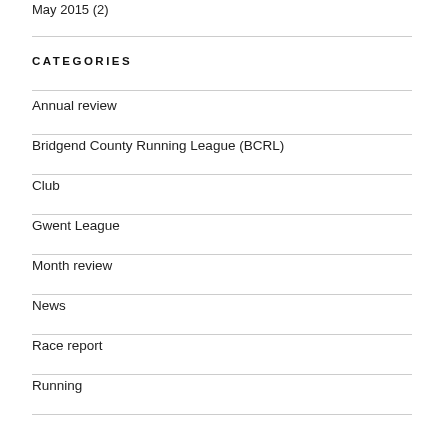May 2015 (2)
CATEGORIES
Annual review
Bridgend County Running League (BCRL)
Club
Gwent League
Month review
News
Race report
Running